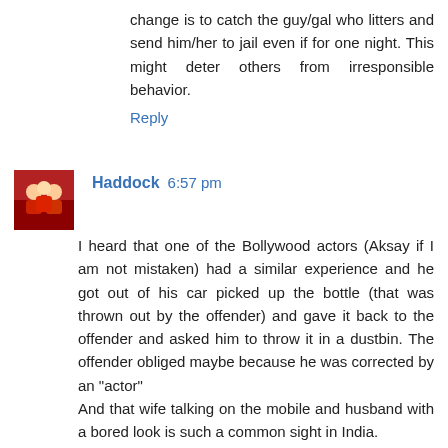change is to catch the guy/gal who litters and send him/her to jail even if for one night. This might deter others from irresponsible behavior.
Reply
Haddock 6:57 pm
I heard that one of the Bollywood actors (Aksay if I am not mistaken) had a similar experience and he got out of his car picked up the bottle (that was thrown out by the offender) and gave it back to the offender and asked him to throw it in a dustbin. The offender obliged maybe because he was corrected by an "actor"
And that wife talking on the mobile and husband with a bored look is such a common sight in India.
Reply
Sammy 1:32 pm
Nicely written
Well done yaar, all the best